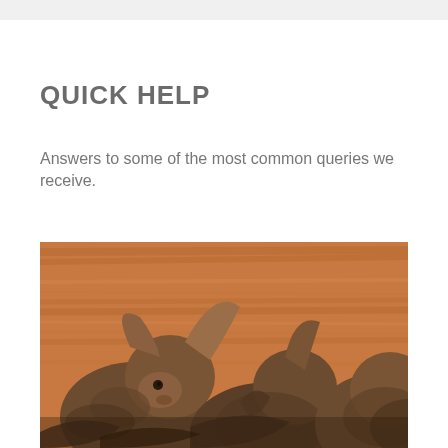Quick Help
Answers to some of the most common queries we receive.
[Figure (photo): Photo of several bats clustered together against a wooden plank background, showing their furry brown bodies and distinctive ears and faces.]